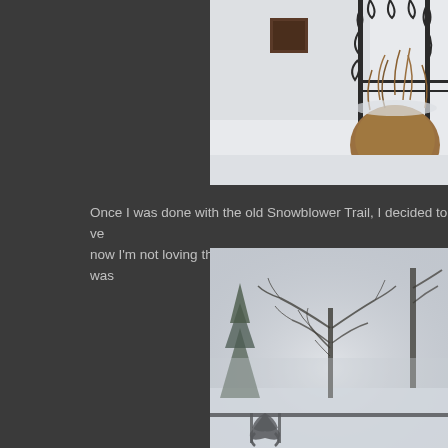[Figure (photo): Winter scene showing a white building/wall with a dark square window, ornate iron gate/fence with scrollwork, and dried brown ornamental grasses covered in snow. Background is white/snowy.]
Once I was done with the old Snowblower Trail, I decided to ve... now I'm not loving the experience quite so much, the wind was...
[Figure (photo): Winter storm scene showing bare trees with branches, evergreen trees, swirling snow/blizzard conditions creating a misty white atmosphere. Ornate iron fence/railing visible at bottom.]